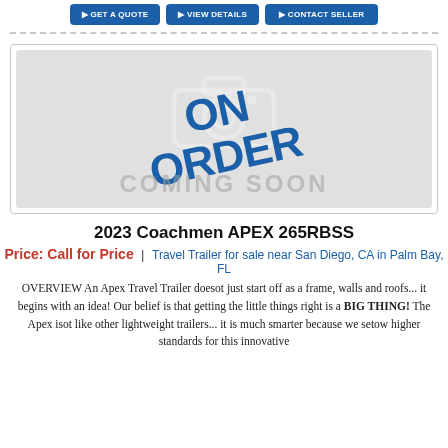[Figure (other): ON ORDER / COMING SOON placeholder image with camera icon and blue diagonal text]
2023 Coachmen APEX 265RBSS
Price: Call for Price | Travel Trailer for sale near San Diego, CA in Palm Bay, FL
OVERVIEW An Apex Travel Trailer doesot just start off as a frame, walls and roofs... it begins with an idea! Our belief is that getting the little things right is a BIG THING! The Apex isot like other lightweight trailers... it is much smarter because we setow higher standards for this innovative